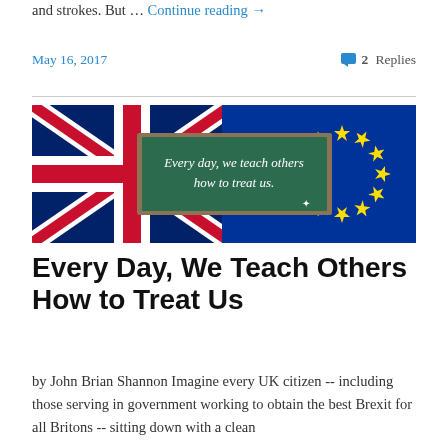and strokes. But … Continue reading →
May 16, 2017
2 Replies
[Figure (photo): A chalkboard with the text 'Every day, we teach others how to treat us.' placed in front of the UK Union Jack flag on the left and the EU flag with yellow stars on the right.]
Every Day, We Teach Others How to Treat Us
by John Brian Shannon Imagine every UK citizen -- including those serving in government working to obtain the best Brexit for all Britons -- sitting down with a clean